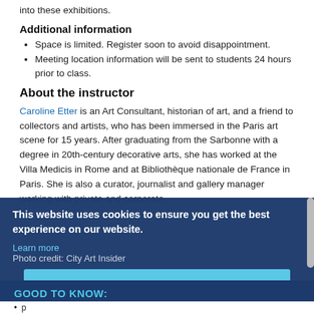into these exhibitions.
Additional information
Space is limited. Register soon to avoid disappointment.
Meeting location information will be sent to students 24 hours prior to class.
About the instructor
Caroline Etter is an Art Consultant, historian of art, and a friend to collectors and artists, who has been immersed in the Paris art scene for 15 years. After graduating from the Sarbonne with a degree in 20th-century decorative arts, she has worked at the Villa Medicis in Rome and at Bibliothèque nationale de France in Paris. She is also a curator, journalist and gallery manager working with private and corporate...
This website uses cookies to ensure you get the best experience on our website.
Learn more
Photo credit: City Art Insider
Close
GOOD TO KNOW: